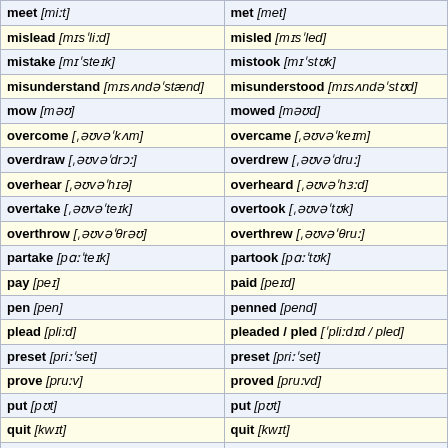| Base form | Past simple |
| --- | --- |
| meet [miːt] | met [met] |
| mislead [mɪsˈliːd] | misled [mɪsˈled] |
| mistake [mɪˈsteɪk] | mistook [mɪˈstʊk] |
| misunderstand [ˌmɪsʌndəˈstænd] | misunderstood [ˌmɪsʌndəˈstʊd] |
| mow [məʊ] | mowed [məʊd] |
| overcome [ˌəʊvəˈkʌm] | overcame [ˌəʊvəˈkeɪm] |
| overdraw [ˌəʊvəˈdrɔː] | overdrew [ˌəʊvəˈdruː] |
| overhear [ˌəʊvəˈhɪə] | overheard [ˌəʊvəˈhɜːd] |
| overtake [ˌəʊvəˈteɪk] | overtook [ˌəʊvəˈtʊk] |
| overthrow [ˌəʊvəˈθrəʊ] | overthrew [ˌəʊvəˈθruː] |
| partake [pɑːˈteɪk] | partook [pɑːˈtʊk] |
| pay [peɪ] | paid [peɪd] |
| pen [pen] | penned [pend] |
| plead [pliːd] | pleaded / pled [ˈpliːdɪd / pled] |
| preset [priːˈset] | preset [priːˈset] |
| prove [pruːv] | proved [pruːvd] |
| put [pʊt] | put [pʊt] |
| quit [kwɪt] | quit [kwɪt] |
| read [riːd] | read [red] |
| rebuild [ˌriːˈbɪld] | rebuilt [ˌriːˈbɪlt] |
| retell [ˌrɪˈtel] | retold [ˌrɪˈtəʊld] |
| rid [rɪd] | ridded / rid [rɪdɪd / rɪd] |
| ride [raɪd] | rode [rəʊd] |
| ring [rɪŋ] | rang [ræŋ] |
| rise [raɪz] | rose [rəʊz] |